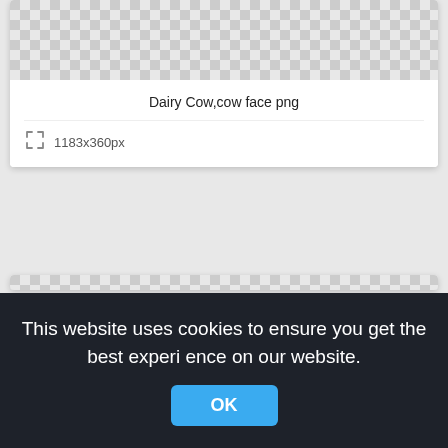[Figure (screenshot): Checkered transparency pattern background for first image card (top portion visible)]
Dairy Cow,cow face png
1183x360px
[Figure (screenshot): Checkered transparency pattern background for second image card (large, partially visible)]
This website uses cookies to ensure you get the best experience on our website.
OK